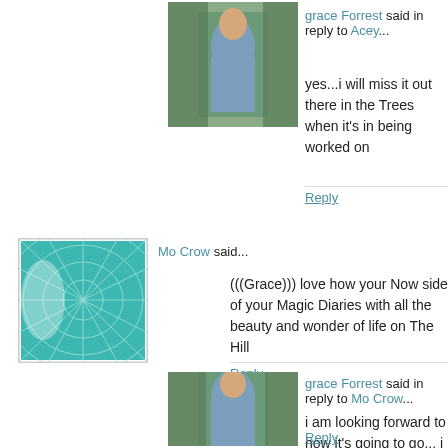grace Forrest said in reply to Acey...
yes...i will miss it out there in the Trees when it's in being worked on
Reply
Mo Crow said...
(((Grace))) love how your Now side of your Magic Diaries with all the beauty and wonder of life on The Hill
Reply
grace Forrest said in reply to Mo Crow...
i am looking forward to how it's going to go... i know these two things, but nothing else, so fa
Reply